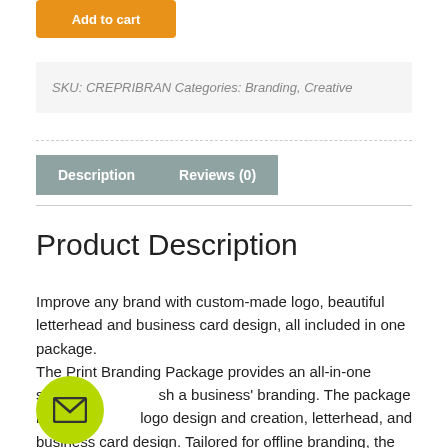Add to cart
SKU: CREPRIBRAN Categories: Branding, Creative
Description
Reviews (0)
Product Description
Improve any brand with custom-made logo, beautiful letterhead and business card design, all included in one package.
The Print Branding Package provides an all-in-one solution to refresh a business' branding. The package includes custom logo design and creation, letterhead, and business card design. Tailored for offline branding, the multi-
[Figure (other): Yellow-green circular email button with envelope icon]